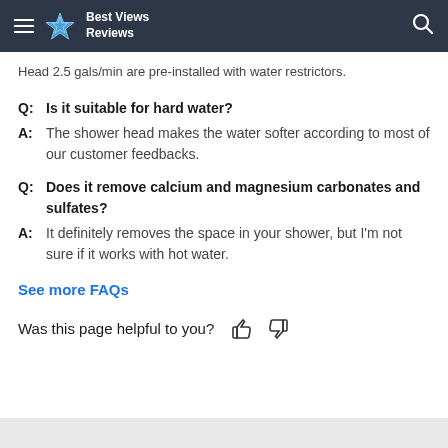Best Views Reviews
Head 2.5 gals/min are pre-installed with water restrictors.
Q: Is it suitable for hard water?
A: The shower head makes the water softer according to most of our customer feedbacks.
Q: Does it remove calcium and magnesium carbonates and sulfates?
A: It definitely removes the space in your shower, but I'm not sure if it works with hot water.
See more FAQs
Was this page helpful to you?